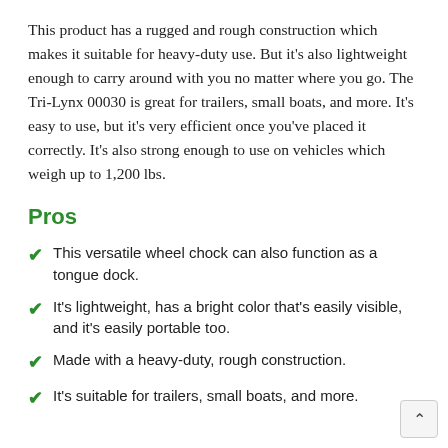This product has a rugged and rough construction which makes it suitable for heavy-duty use. But it's also lightweight enough to carry around with you no matter where you go. The Tri-Lynx 00030 is great for trailers, small boats, and more. It's easy to use, but it's very efficient once you've placed it correctly. It's also strong enough to use on vehicles which weigh up to 1,200 lbs.
Pros
This versatile wheel chock can also function as a tongue dock.
It's lightweight, has a bright color that's easily visible, and it's easily portable too.
Made with a heavy-duty, rough construction.
It's suitable for trailers, small boats, and more.